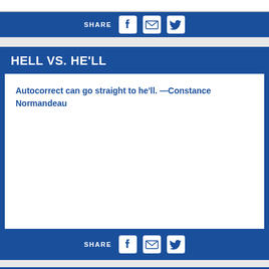[Figure (other): Share bar with Facebook, email, and Twitter icons at top]
HELL VS. HE'LL
Autocorrect can go straight to he'll. —Constance Normandeau
[Figure (other): Share bar with Facebook, email, and Twitter icons at bottom]
[Figure (other): Blue bar at very bottom of page]